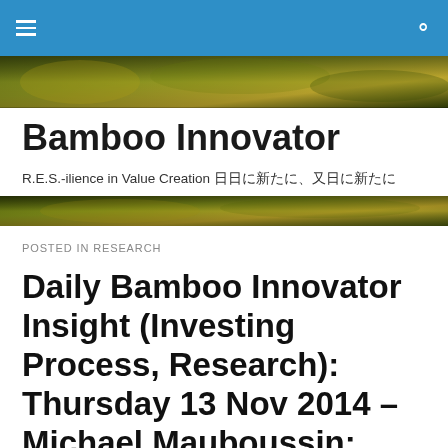Bamboo Innovator
[Figure (illustration): Decorative green and gold bamboo/nature banner image]
Bamboo Innovator
R.E.S.-ilience in Value Creation 日日に新たに、又日に新たに
[Figure (illustration): Second decorative green and gold bamboo/nature banner image]
POSTED IN RESEARCH
Daily Bamboo Innovator Insight (Investing Process, Research): Thursday 13 Nov 2014 – Michael Mauboussin: Attributes of a Good Investment Process